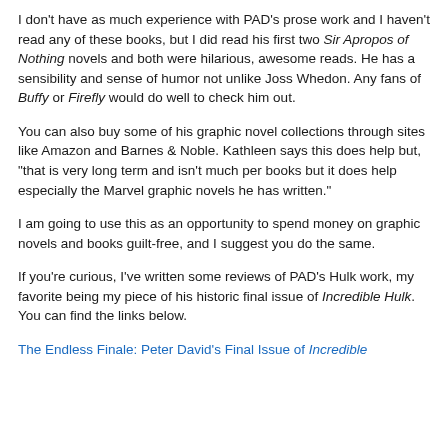I don't have as much experience with PAD's prose work and I haven't read any of these books, but I did read his first two Sir Apropos of Nothing novels and both were hilarious, awesome reads. He has a sensibility and sense of humor not unlike Joss Whedon. Any fans of Buffy or Firefly would do well to check him out.
You can also buy some of his graphic novel collections through sites like Amazon and Barnes & Noble. Kathleen says this does help but, "that is very long term and isn't much per books but it does help especially the Marvel graphic novels he has written."
I am going to use this as an opportunity to spend money on graphic novels and books guilt-free, and I suggest you do the same.
If you're curious, I've written some reviews of PAD's Hulk work, my favorite being my piece of his historic final issue of Incredible Hulk. You can find the links below.
The Endless Finale: Peter David's Final Issue of Incredible